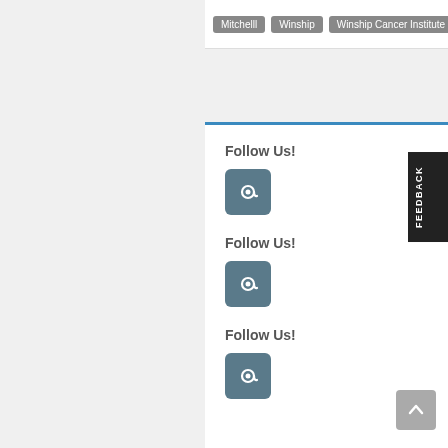Mitchelll
Winship
Winship Cancer Institute
Follow Us!
[Figure (illustration): Email/at-sign social media icon button with rounded square shape in muted blue-gray]
Follow Us!
[Figure (illustration): Email/at-sign social media icon button with rounded square shape in muted blue-gray]
Follow Us!
[Figure (illustration): Email/at-sign social media icon button with rounded square shape in muted blue-gray]
[Figure (illustration): FEEDBACK vertical tab on right side]
[Figure (illustration): Scroll to top button with upward arrow]